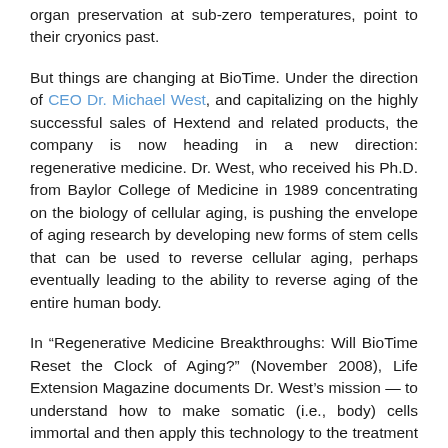organ preservation at sub-zero temperatures, point to their cryonics past.
But things are changing at BioTime. Under the direction of CEO Dr. Michael West, and capitalizing on the highly successful sales of Hextend and related products, the company is now heading in a new direction: regenerative medicine. Dr. West, who received his Ph.D. from Baylor College of Medicine in 1989 concentrating on the biology of cellular aging, is pushing the envelope of aging research by developing new forms of stem cells that can be used to reverse cellular aging, perhaps eventually leading to the ability to reverse aging of the entire human body.
In “Regenerative Medicine Breakthroughs: Will BioTime Reset the Clock of Aging?” (November 2008), Life Extension Magazine documents Dr. West’s mission — to understand how to make somatic (i.e., body) cells immortal and then apply this technology to the treatment of aging and aging-